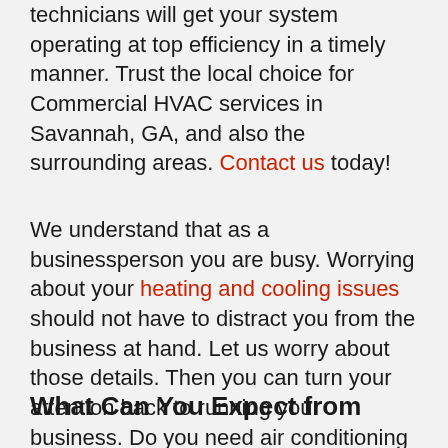technicians will get your system operating at top efficiency in a timely manner. Trust the local choice for Commercial HVAC services in Savannah, GA, and also the surrounding areas. Contact us today!
We understand that as a businessperson you are busy. Worrying about your heating and cooling issues should not have to distract you from the business at hand. Let us worry about those details. Then you can turn your attention back to running your business. Do you need air conditioning heating installation or maintenance and also repair? You can count on us for a no-hassle experience.
What Can You Expect from